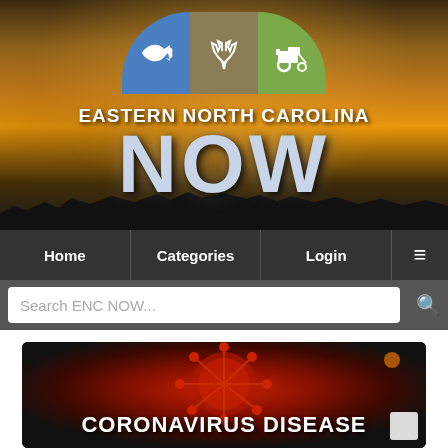[Figure (screenshot): Eastern North Carolina NOW website header with logo showing fishing, hunting (antlers), and farming (tractor) icons on colored semicircle panels over a sunset sky background, with large text 'EASTERN NORTH CAROLINA NOW']
[Figure (screenshot): Website navigation bar with Home, Categories, Login, and hamburger menu items on dark background]
[Figure (screenshot): Search bar with placeholder text 'Search ENC NOW...' and search icon on dark background]
[Figure (screenshot): Article preview image showing coronavirus particle with title 'CORONAVIRUS DISEASE']